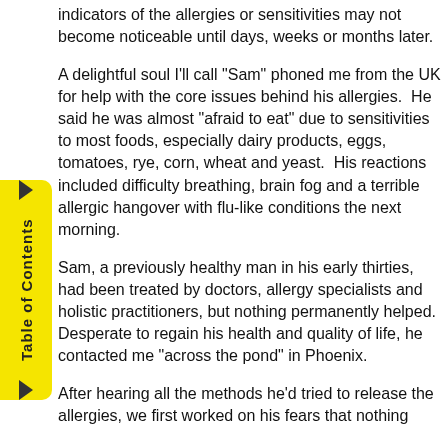indicators of the allergies or sensitivities may not become noticeable until days, weeks or months later.
A delightful soul I'll call "Sam" phoned me from the UK for help with the core issues behind his allergies.  He said he was almost "afraid to eat" due to sensitivities to most foods, especially dairy products, eggs, tomatoes, rye, corn, wheat and yeast.  His reactions included difficulty breathing, brain fog and a terrible allergic hangover with flu-like conditions the next morning.
Sam, a previously healthy man in his early thirties, had been treated by doctors, allergy specialists and holistic practitioners, but nothing permanently helped.  Desperate to regain his health and quality of life, he contacted me "across the pond" in Phoenix.
After hearing all the methods he'd tried to release the allergies, we first worked on his fears that nothing